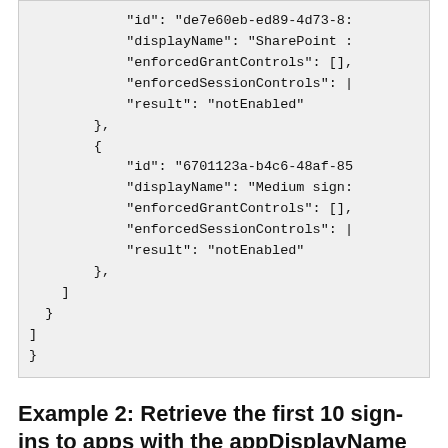"id": "de7e60eb-ed89-4d73-8...
"displayName": "SharePoint ...
"enforcedGrantControls": [],
"enforcedSessionControls": [...
"result": "notEnabled"
},
{
    "id": "6701123a-b4c6-48af-85...
    "displayName": "Medium sign...
    "enforcedGrantControls": [],
    "enforcedSessionControls": [...
    "result": "notEnabled"
},
]
}
]
}
Example 2: Retrieve the first 10 sign-ins to apps with the appDisplayName that starts with 'Graph'